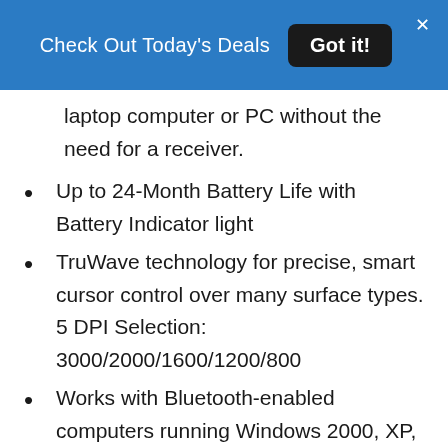Check Out Today's Deals  Got it!
laptop computer or PC without the need for a receiver.
Up to 24-Month Battery Life with Battery Indicator light
TruWave technology for precise, smart cursor control over many surface types. 5 DPI Selection: 3000/2000/1600/1200/800
Works with Bluetooth-enabled computers running Windows 2000, XP, VISTA, 7, 8, 10, like Surface Pro, Windows computer, notebook, laptop, computer, Chromebook and etc.
Ergonomic contoured shape provides all-day